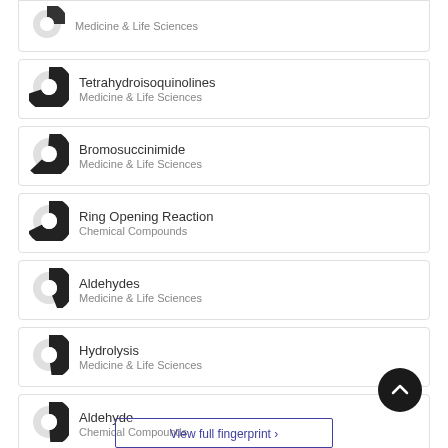Medicine & Life Sciences
Tetrahydroisoquinolines
Medicine & Life Sciences
Bromosuccinimide
Medicine & Life Sciences
Ring Opening Reaction
Chemical Compounds
Aldehydes
Medicine & Life Sciences
Hydrolysis
Medicine & Life Sciences
Aldehyde
Chemical Compounds
View full fingerprint >